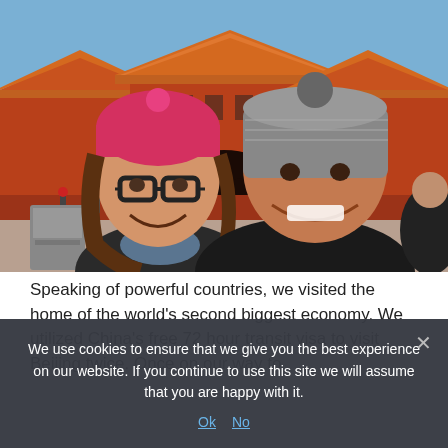[Figure (photo): Selfie of a couple (woman with pink beanie and glasses, man with gray knit hat) smiling in front of the Forbidden City in Beijing, China. Red walls and traditional Chinese architecture visible in background under a blue sky.]
Speaking of powerful countries, we visited the home of the world's second biggest economy. We utilized China's free 72 hour transit visa to visit Beijing twice. Once on our way to
We use cookies to ensure that we give you the best experience on our website. If you continue to use this site we will assume that you are happy with it.
Ok  No